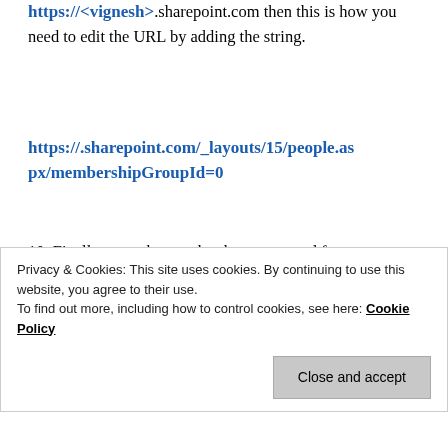https://<vignesh>.sharepoint.com then this is how you need to edit the URL by adding the string.
https://.sharepoint.com/_layouts/15/people.aspx/membershipGroupId=0
10. Finally, once the user has been removed from SharePoint Online as well as the site collection in question, the external user's profile will still show up
Privacy & Cookies: This site uses cookies. By continuing to use this website, you agree to their use.
To find out more, including how to control cookies, see here: Cookie Policy
Close and accept